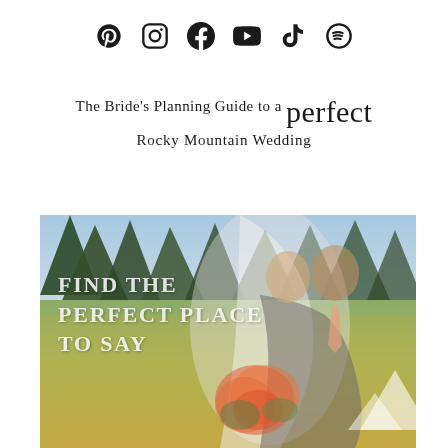Social media icons: Pinterest, Instagram, Facebook, YouTube, TikTok, Spotify
The Bride's Planning Guide to a perfect Rocky Mountain Wedding
[Figure (photo): Wedding couple (bride in white veil holding colorful bouquet, groom in gray suit with peach tie) standing in a mountain meadow with green trees and sky in background. Overlaid text reads: FIND THE PERFECT PLACE TO SAY. White mountain triangle logo visible bottom right.]